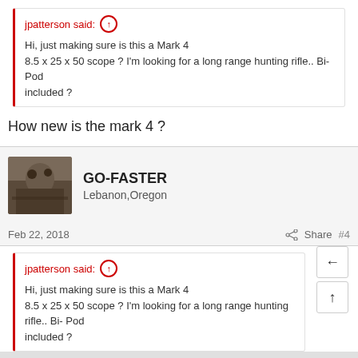jpatterson said: ↑ Hi, just making sure is this a Mark 4 8.5 x 25 x 50 scope ? I'm looking for a long range hunting rifle.. Bi- Pod included ?
How new is the mark 4 ?
[Figure (photo): User avatar photo showing outdoor/hunting scene]
GO-FASTER Lebanon,Oregon
Feb 22, 2018   Share  #4
jpatterson said: ↑ Hi, just making sure is this a Mark 4 8.5 x 25 x 50 scope ? I'm looking for a long range hunting rifle.. Bi- Pod included ?
Yes Mark 4 8.5-25x50 sent you message